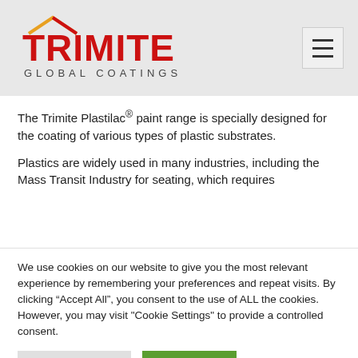[Figure (logo): Trimite Global Coatings logo with red text and yellow/red roof-like graphic]
The Trimite Plastilac® paint range is specially designed for the coating of various types of plastic substrates.
Plastics are widely used in many industries, including the Mass Transit Industry for seating, which requires
We use cookies on our website to give you the most relevant experience by remembering your preferences and repeat visits. By clicking "Accept All", you consent to the use of ALL the cookies. However, you may visit "Cookie Settings" to provide a controlled consent.